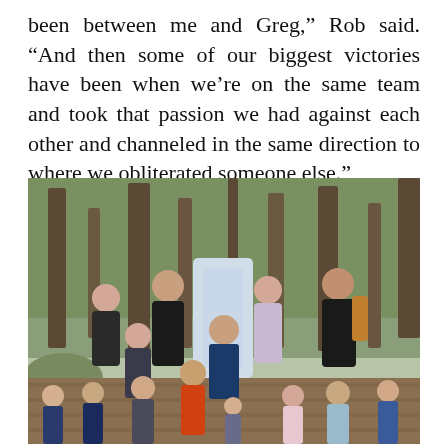been between me and Greg," Rob said. "And then some of our biggest victories have been when we're on the same team and took that passion we had against each other and channeled in the same direction to where we obliterated someone else."
[Figure (photo): A large group of adults and children posing outdoors on a wooden deck/bridge in a forested area with a stream visible in the background. The group includes approximately 14 people of various ages, several children in front and adults standing behind them.]